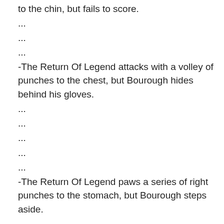to the chin, but fails to score.
...
...
...
-The Return Of Legend attacks with a volley of punches to the chest, but Bourough hides behind his gloves.
...
...
...
...
...
-The Return Of Legend paws a series of right punches to the stomach, but Bourough steps aside.
...
...
...
...
BELL